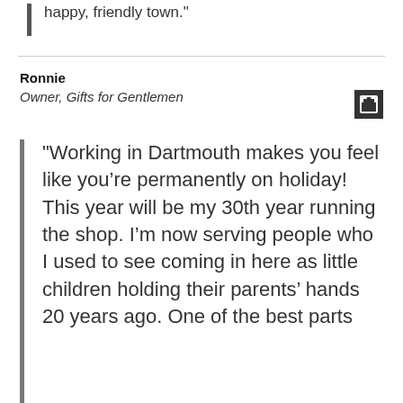happy, friendly town."
Ronnie
Owner, Gifts for Gentlemen
"Working in Dartmouth makes you feel like you’re permanently on holiday! This year will be my 30th year running the shop. I’m now serving people who I used to see coming in here as little children holding their parents’ hands 20 years ago. One of the best parts